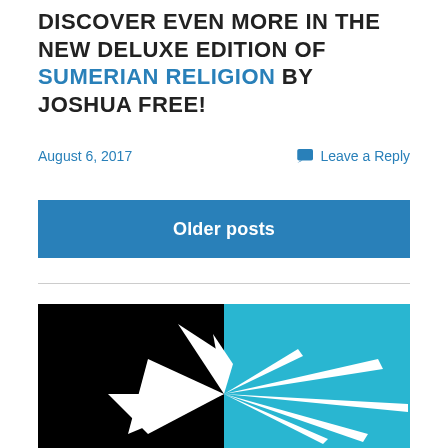DISCOVER EVEN MORE IN THE NEW DELUXE EDITION OF SUMERIAN RELIGION BY JOSHUA FREE!
August 6, 2017
Leave a Reply
Older posts
[Figure (logo): Two-part logo: left half black background with white starburst/explosion shape, right half cyan/blue background with white lines radiating from center starburst shape.]